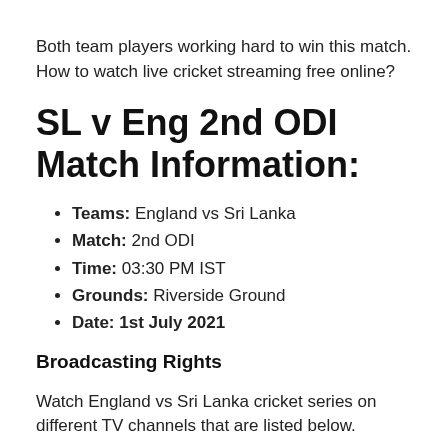Both team players working hard to win this match. How to watch live cricket streaming free online?
SL v Eng 2nd ODI Match Information:
Teams: England vs Sri Lanka
Match: 2nd ODI
Time: 03:30 PM IST
Grounds: Riverside Ground
Date: 1st July 2021
Broadcasting Rights
Watch England vs Sri Lanka cricket series on different TV channels that are listed below.